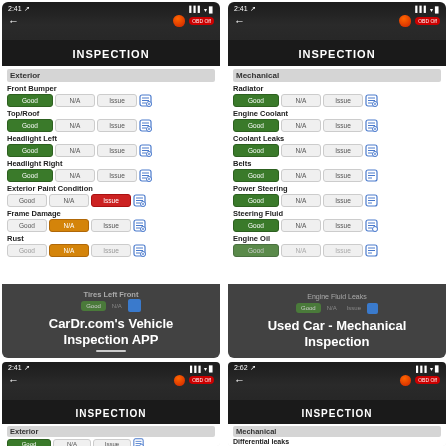[Figure (screenshot): CarDr.com Vehicle Inspection APP - Exterior section showing Front Bumper, Top/Roof, Headlight Left, Headlight Right (all Good), Exterior Paint Condition (Issue selected in red), Frame Damage (N/A selected in orange), Rust (N/A selected in orange) with overlay text 'CarDr.com's Vehicle Inspection APP']
[Figure (screenshot): Used Car Mechanical Inspection app screenshot showing Mechanical section: Radiator, Engine Coolant, Coolant Leaks, Belts, Power Steering, Steering Fluid, Engine Oil (all Good selected), Engine Fluid Leaks visible with overlay text 'Used Car - Mechanical Inspection']
[Figure (screenshot): Bottom left partial screenshot showing INSPECTION screen with Exterior section, Front Hood row with Good/N/A/Issue buttons, and Front Bumper row beginning]
[Figure (screenshot): Bottom right partial screenshot showing INSPECTION screen with Mechanical section, Differential leaks row (Good selected), and Exhaust System row (Good selected)]